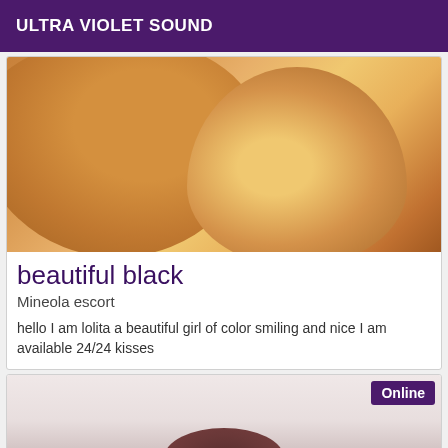ULTRA VIOLET SOUND
[Figure (photo): Close-up photo showing skin tones with warm brown coloring]
beautiful black
Mineola escort
hello I am lolita a beautiful girl of color smiling and nice I am available 24/24 kisses
[Figure (photo): Photo showing top of a person's head with dark brown hair against a light pink/white background, with an Online badge in top right corner]